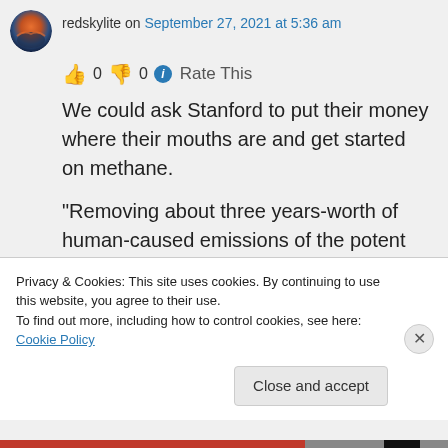redskylite on September 27, 2021 at 5:36 am
👍 0 👎 0 ℹ Rate This
We could ask Stanford to put their money where their mouths are and get started on methane.
“Removing about three years-worth of human-caused emissions of the potent greenhouse gas would reduce global surface temperatures
Privacy & Cookies: This site uses cookies. By continuing to use this website, you agree to their use.
To find out more, including how to control cookies, see here: Cookie Policy
Close and accept